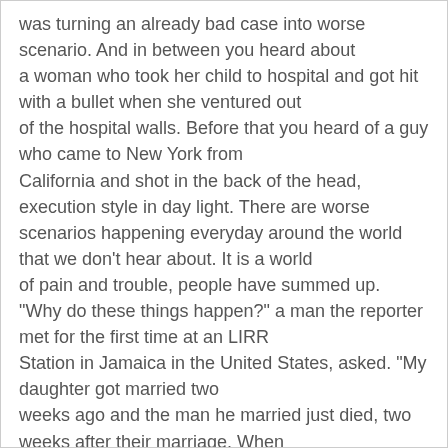was turning an already bad case into worse scenario. And in between you heard about a woman who took her child to hospital and got hit with a bullet when she ventured out of the hospital walls. Before that you heard of a guy who came to New York from California and shot in the back of the head, execution style in day light. There are worse scenarios happening everyday around the world that we don't hear about. It is a world of pain and trouble, people have summed up. "Why do these things happen?" a man the reporter met for the first time at an LIRR Station in Jamaica in the United States, asked. "My daughter got married two weeks ago and the man he married just died, two weeks after their marriage. When my daughter is in pain, I am also in pain. Does God exist; does He sees these things?"   To comfort him, the reporter told him about his own experience